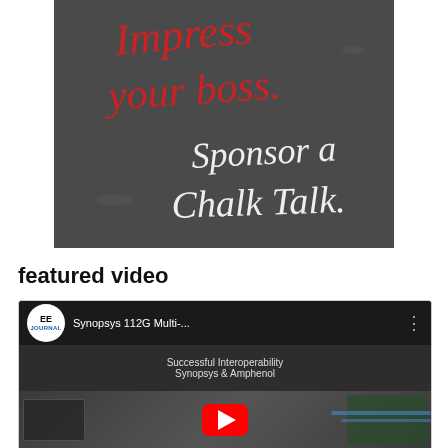[Figure (illustration): Advertisement image showing a chalkboard with red handwritten text 'Impress your boss.' and white handwritten text 'Sponsor a Chalk Talk.']
featured video
[Figure (screenshot): YouTube video thumbnail showing EE Journal logo, video title 'Synopsys 112G Multi-...' with subtitle 'Successful Interoperability Synopsys & Amphenol', red YouTube play button, and electronics/circuit board hardware in the background.]